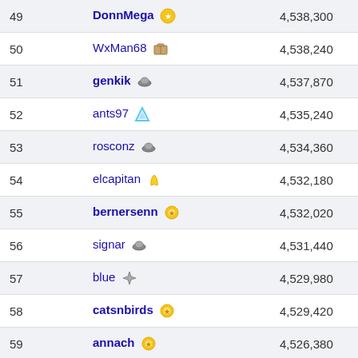| Rank | Player | Score |
| --- | --- | --- |
| 49 | DonnMega 🏅 | 4,538,300 |
| 50 | WxMan68 🧳 | 4,538,240 |
| 51 | genkik 🎩 | 4,537,870 |
| 52 | ants97 💎 | 4,535,240 |
| 53 | rosconz 🎩 | 4,534,360 |
| 54 | elcapitan 🎗 | 4,532,180 |
| 55 | bernersenn 🌟 | 4,532,020 |
| 56 | signar 🎩 | 4,531,440 |
| 57 | blue 🚀 | 4,529,980 |
| 58 | catsnbirds 🌟 | 4,529,420 |
| 59 | annach 🌟 | 4,526,380 |
| 60 | Sydjumps 🎮 | 4,524,490 |